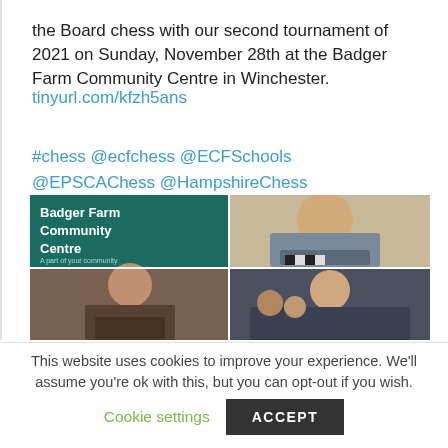the Board chess with our second tournament of 2021 on Sunday, November 28th at the Badger Farm Community Centre in Winchester.
tinyurl.com/kfzh5ans
#chess @ecfchess @ECFSchools @EPSCAChess @HampshireChess @BritishChess
[Figure (photo): 2x2 grid of photos: top-left shows Badger Farm Community Centre sign on teal background, top-right shows a young blonde boy playing chess, bottom-left shows a young dark-haired boy looking down at chess board, bottom-right shows an adult man smiling among children at a chess event]
This website uses cookies to improve your experience. We'll assume you're ok with this, but you can opt-out if you wish.
Cookie settings   ACCEPT